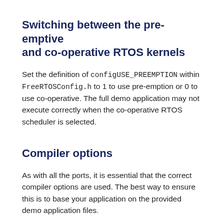Switching between the pre-emptive and co-operative RTOS kernels
Set the definition of configUSE_PREEMPTION within FreeRTOSConfig.h to 1 to use pre-emption or 0 to use co-operative. The full demo application may not execute correctly when the co-operative RTOS scheduler is selected.
Compiler options
As with all the ports, it is essential that the correct compiler options are used. The best way to ensure this is to base your application on the provided demo application files.